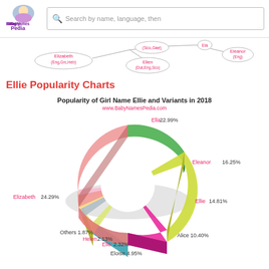BabyNames Pedia | Search by name, language, then
[Figure (other): Name relationship diagram showing Elizabeth (Eng,Grc,Heb), Sco/Gae, Ellen (Dut,Eng,Sco), Ela, Eleanor (Eng) connected by lines]
Ellie Popularity Charts
[Figure (donut-chart): Popularity of Girl Name Ellie and Variants in 2018]
Others (in descending order): Ellen, Elsa